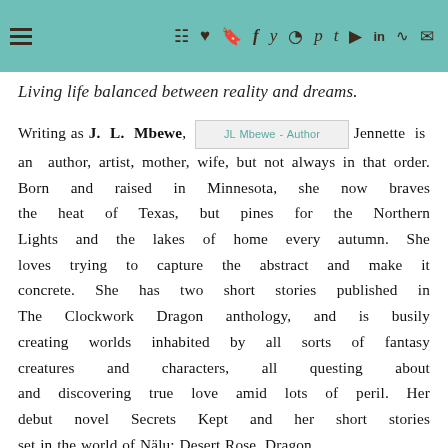Navigation bar with hamburger menu and social/navigation icons
Living life balanced between reality and dreams.
Writing as J. L. Mbewe, Jennette is an author, artist, mother, wife, but not always in that order. Born and raised in Minnesota, she now braves the heat of Texas, but pines for the Northern Lights and the lakes of home every autumn. She loves trying to capture the abstract and make it concrete. She has two short stories published in The Clockwork Dragon anthology, and is busily creating worlds inhabited by all sorts of fantasy creatures and characters, all questing about and discovering true love amid lots of peril. Her debut novel Secrets Kept and her short stories set in the world of Nälu: Desert Rose, Dragon
[Figure (other): JL Mbewe - Author image placeholder]